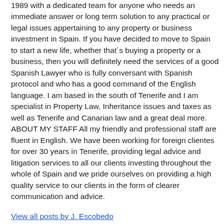1989 with a dedicated team for anyone who needs an immediate answer or long term solution to any practical or legal issues appertaining to any property or business investment in Spain. If you have decided to move to Spain to start a new life, whether that´s buying a property or a business, then you will definitely need the services of a good Spanish Lawyer who is fully conversant with Spanish protocol and who has a good command of the English language. I am based in the south of Tenerife and I am specialist in Property Law, Inheritance issues and taxes as well as Tenerife and Canarian law and a great deal more. ABOUT MY STAFF All my friendly and professional staff are fluent in English. We have been working for foreign clientes for over 30 years in Tenerife, providing legal advice and litigation services to all our clients investing throughout the whole of Spain and we pride ourselves on providing a high quality service to our clients in the form of clearer communication and advice.
View all posts by J. Escobedo